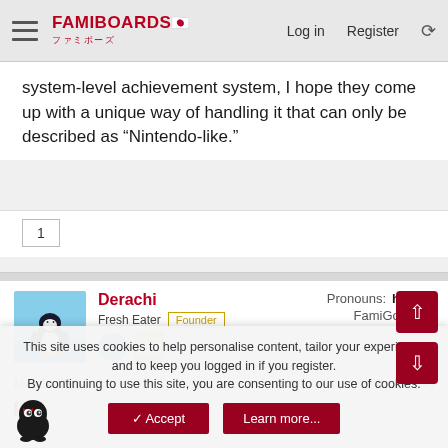FAMIBOARDS | Log in | Register
system-level achievement system, I hope they come up with a unique way of handling it that can only be described as "Nintendo-like."
1
Derachi
Fresh Eater | Founder
Pronouns: he/him
FamiGold: 51
May 14, 2022
#4,296
This site uses cookies to help personalise content, tailor your experience and to keep you logged in if you register.
By continuing to use this site, you are consenting to our use of cookies.
✓ Accept
Learn more...